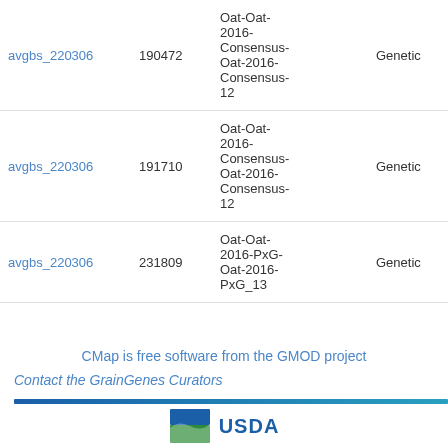| Marker | Position | Map | Map Type | QTL | Feature |
| --- | --- | --- | --- | --- | --- |
| avgbs_220306 | 190472 | Oat-Oat-2016-Consensus-Oat-2016-Consensus-12 | Genetic | None | Autom… name… |
| avgbs_220306 | 191710 | Oat-Oat-2016-Consensus-Oat-2016-Consensus-12 | Genetic | None | Autom… name… |
| avgbs_220306 | 231809 | Oat-Oat-2016-PxG-Oat-2016-PxG_13 | Genetic | None | Autom… name… |
CMap is free software from the GMOD project
Contact the GrainGenes Curators
[Figure (logo): USDA logo with green and blue icon and bold blue USDA text]